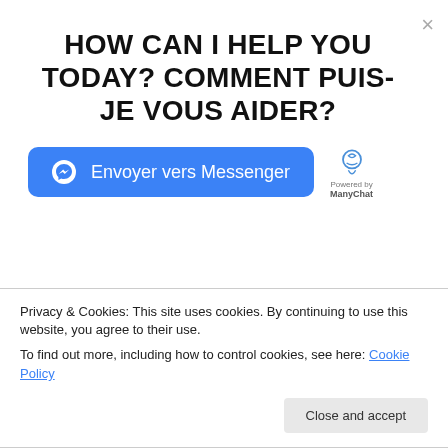HOW CAN I HELP YOU TODAY? COMMENT PUIS-JE VOUS AIDER?
[Figure (screenshot): Messenger chat widget button with Messenger icon and ManyChat powered-by logo]
Septe[mber 2018]
August 2018
July 2018
June 2018
Privacy & Cookies: This site uses cookies. By continuing to use this website, you agree to their use.
To find out more, including how to control cookies, see here: Cookie Policy
Close and accept